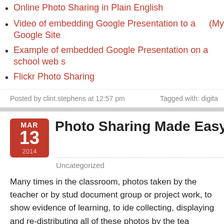Online Photo Sharing in Plain English
Video of embedding Google Presentation to a Google Site (My...
Example of embedded Google Presentation on a school web s...
Flickr Photo Sharing
Posted by clint.stephens at 12:57 pm    Tagged with: digita...
Photo Sharing Made Easy with Yo...
Uncategorized
Many times in the classroom, photos taken by the teacher or by stud... document group or project work, to show evidence of learning, to ide... collecting, displaying and re-distributing all of these photos by the tea... cumbersome process.
In the old-school days, I would have students bring digital cameras f... and take photographs for certain lessons or activities. Then, I would c... connect them to my computer to import the photos, and then use a c...